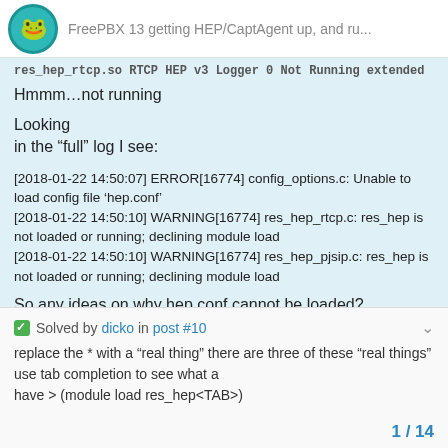FreePBX 13 getting HEP/CaptAgent up, and ru...
res_hep_rtcp.so RTCP HEP v3 Logger 0 Not Running extended
Hmmm...not running
Looking
in the “full” log I see:
[2018-01-22 14:50:07] ERROR[16774] config_options.c: Unable to load config file 'hep.conf'
[2018-01-22 14:50:10] WARNING[16774] res_hep_rtcp.c: res_hep is not loaded or running; declining module load
[2018-01-22 14:50:10] WARNING[16774] res_hep_pjsip.c: res_hep is not loaded or running; declining module load
So any ideas on why hep.conf cannot be loaded?
Solved by dicko in post #10
replace the * with a “real thing” there are three of these “real things” use tab completion to see what a have > (module load res_hep<TAB>)
1 / 14